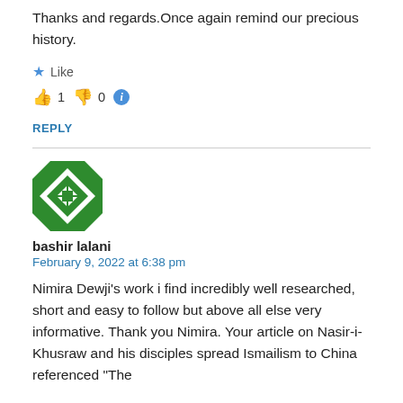Thanks and regards.Once again remind our precious history.
👍 Like
👍 1  👎 0  ℹ
REPLY
[Figure (illustration): Green and white geometric pattern avatar for user bashir lalani]
bashir lalani
February 9, 2022 at 6:38 pm
Nimira Dewji's work i find incredibly well researched, short and easy to follow but above all else very informative. Thank you Nimira. Your article on Nasir-i-Khusraw and his disciples spread Ismailism to China referenced "The